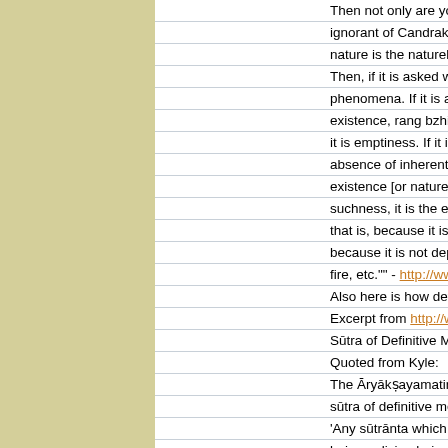Then not only are you ignorant of the English, you are ignorant of Candrakīrti where, in the Prasannapadā, the nature is the natureless nature, emptiness... Then, if it is asked what is this dharmatā of phenomena. If it is ask what is an essence [of existence, rang bzhin]. If it is asked what it is, it is emptiness. If it is asked what is emptiness [it is the absence of inherent existence]. If it is asked what is inherent existence [or naturelessness], it is suchness. If it is asked what is suchness, it is the essence of suchness that — that is, because it is not fabricated it does not become. And because it is not dependent, it is called the example of fire, etc."" - http://www.awakeningtoreality... Also here is how definitive Mahayana sutr... Excerpt from http://www.awakeningtoreali... Sūtra of Definitive Meaning vs Sūtra of Pr... Quoted from Kyle: The Āryākṣayamatinirdeśa-nāma-mahāyā... sūtra of definitive meaning: 'Any sūtrānta which explains in a variety o... being, a living being, a personality, a pers... human, a human, an agent, an experience... ownerless — those sutras are called "of p... which teaches emptiness, the signless, th...